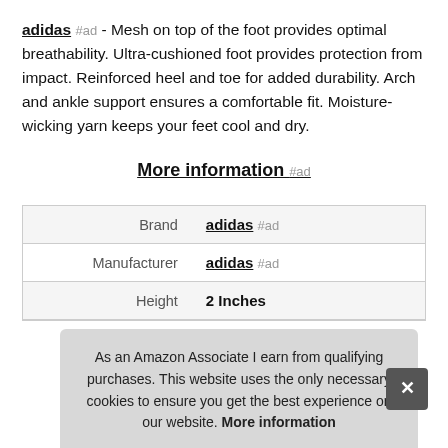adidas #ad - Mesh on top of the foot provides optimal breathability. Ultra-cushioned foot provides protection from impact. Reinforced heel and toe for added durability. Arch and ankle support ensures a comfortable fit. Moisture-wicking yarn keeps your feet cool and dry.
More information #ad
| Brand | adidas #ad |
| Manufacturer | adidas #ad |
| Height | 2 Inches |
As an Amazon Associate I earn from qualifying purchases. This website uses the only necessary cookies to ensure you get the best experience on our website. More information